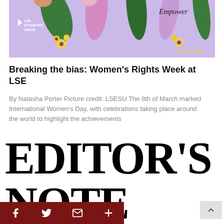[Figure (illustration): LSE Students' Union banner with purple/lavender background, illustrated hands holding flowers, 'Empower' text in italic, and LSESU.COM URL in yellow.]
Breaking the bias: Women's Rights Week at LSE
By Natasha Porter Picture credit: LSESU The 8th of March marked International Women's Day, with celebrations taking place around the world to highlight the achievements
EDITOR'S NOTE